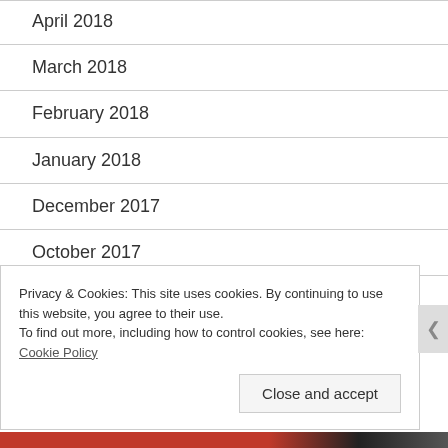April 2018
March 2018
February 2018
January 2018
December 2017
October 2017
September 2017
Privacy & Cookies: This site uses cookies. By continuing to use this website, you agree to their use.
To find out more, including how to control cookies, see here: Cookie Policy
Close and accept